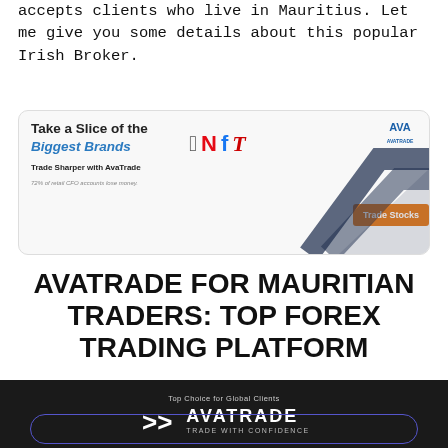accepts clients who live in Mauritius. Let me give you some details about this popular Irish Broker.
[Figure (screenshot): AvaTrade advertisement banner: 'Take a Slice of the Biggest Brands' with Apple, Netflix, Facebook, Tesla logos, 'Trade Sharper with AvaTrade' tagline, 'Trade Stocks' orange button, AvaTrade logo, chevron background graphic, disclaimer '72% of retail CFD accounts lose money.']
AVATRADE FOR MAURITIAN TRADERS: TOP FOREX TRADING PLATFORM
[Figure (logo): AvaTrade logo on dark background with text 'Top Choice for Global Clients' and 'TRADE WITH CONFIDENCE']